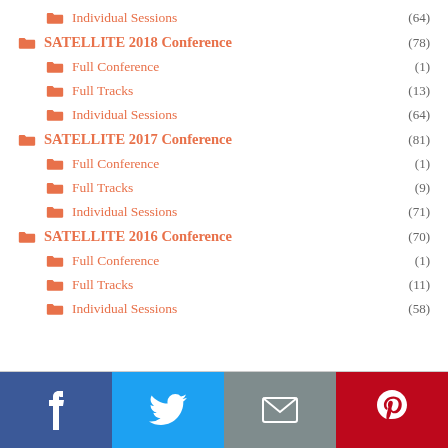Individual Sessions (64)
SATELLITE 2018 Conference (78)
Full Conference (1)
Full Tracks (13)
Individual Sessions (64)
SATELLITE 2017 Conference (81)
Full Conference (1)
Full Tracks (9)
Individual Sessions (71)
SATELLITE 2016 Conference (70)
Full Conference (1)
Full Tracks (11)
Individual Sessions (58)
[Figure (infographic): Social media sharing bar with Facebook, Twitter, Email, and Pinterest buttons]